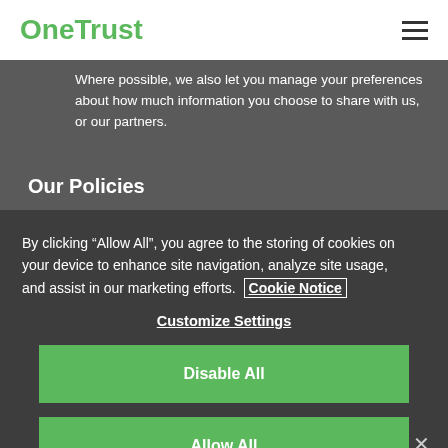OneTrust
Where possible, we also let you manage your preferences about how much information you choose to share with us, or our partners.
Our Policies
By clicking “Allow All”, you agree to the storing of cookies on your device to enhance site navigation, analyze site usage, and assist in our marketing efforts. Cookie Notice
Customize Settings
Disable All
Allow All